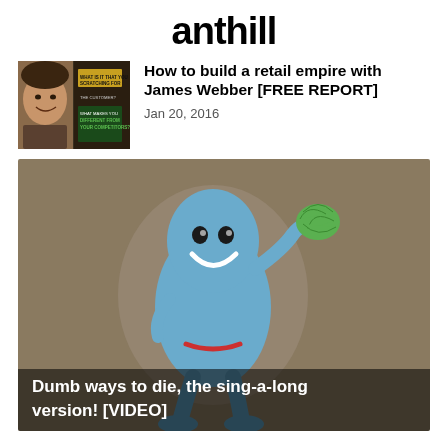anthill
[Figure (photo): Article thumbnail: man's face with text overlay about retail/customer questions, gold and green text on dark background]
How to build a retail empire with James Webber [FREE REPORT]
Jan 20, 2016
[Figure (photo): Video thumbnail: cartoon blue bean-shaped character waving a green leafy hand, wearing a small red accessory, on a tan/brown background. Caption overlay reads: Dumb ways to die, the sing-a-long version! [VIDEO]]
Dumb ways to die, the sing-a-long version! [VIDEO]